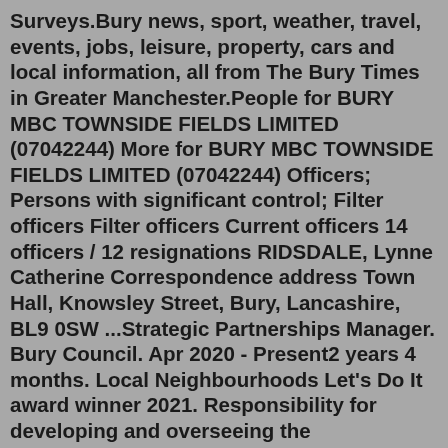Surveys.Bury news, sport, weather, travel, events, jobs, leisure, property, cars and local information, all from The Bury Times in Greater Manchester.People for BURY MBC TOWNSIDE FIELDS LIMITED (07042244) More for BURY MBC TOWNSIDE FIELDS LIMITED (07042244) Officers; Persons with significant control; Filter officers Filter officers Current officers 14 officers / 12 resignations RIDSDALE, Lynne Catherine Correspondence address Town Hall, Knowsley Street, Bury, Lancashire, BL9 0SW ...Strategic Partnerships Manager. Bury Council. Apr 2020 - Present2 years 4 months. Local Neighbourhoods Let's Do It award winner 2021. Responsibility for developing and overseeing the implementation of "Let's Do It!" strategy; leading the delivery of the public service reform agenda in Bury. Establishment and chairing of public service ...Bury council are committed to both their employees and their residents. They look for people who share their commitment to join them in three key departments: children, young people &